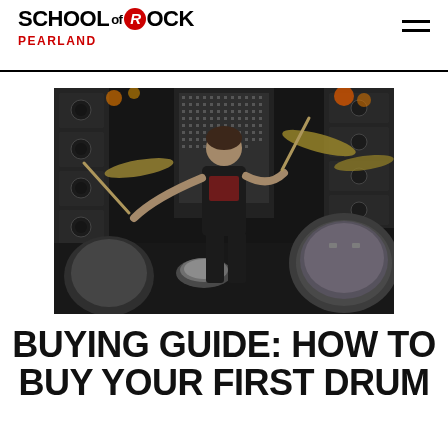SCHOOL OF ROCK PEARLAND
[Figure (photo): Young drummer playing a large drum kit on a concert stage with lights and equipment in the background]
BUYING GUIDE: HOW TO BUY YOUR FIRST DRUM